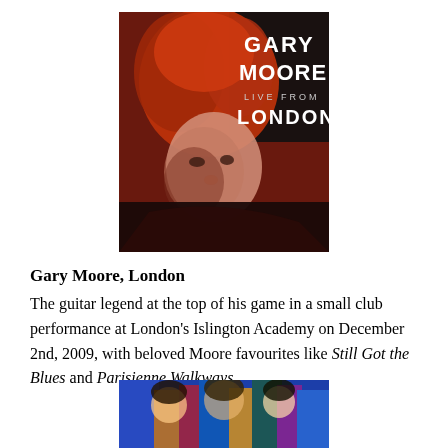[Figure (photo): Album cover for Gary Moore - Live From London, showing a stylized red and black illustration of Gary Moore's face with curly red hair, with the text 'GARY MOORE LIVE FROM LONDON' on a dark background]
Gary Moore, London
The guitar legend at the top of his game in a small club performance at London's Islington Academy on December 2nd, 2009, with beloved Moore favourites like Still Got the Blues and Parisienne Walkways.
[Figure (photo): Partial view of another album cover at the bottom of the page, showing a colorful illustrated image]